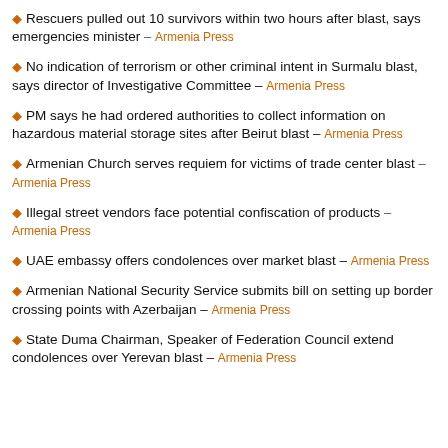Rescuers pulled out 10 survivors within two hours after blast, says emergencies minister – Armenia Press
No indication of terrorism or other criminal intent in Surmalu blast, says director of Investigative Committee – Armenia Press
PM says he had ordered authorities to collect information on hazardous material storage sites after Beirut blast – Armenia Press
Armenian Church serves requiem for victims of trade center blast – Armenia Press
Illegal street vendors face potential confiscation of products – Armenia Press
UAE embassy offers condolences over market blast – Armenia Press
Armenian National Security Service submits bill on setting up border crossing points with Azerbaijan – Armenia Press
State Duma Chairman, Speaker of Federation Council extend condolences over Yerevan blast – Armenia Press